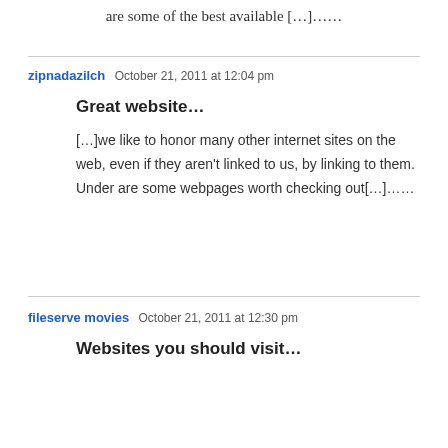are some of the best available […]……
zipnadazilch   October 21, 2011 at 12:04 pm
Great website…
[…]we like to honor many other internet sites on the web, even if they aren't linked to us, by linking to them. Under are some webpages worth checking out[…]……
fileserve movies   October 21, 2011 at 12:30 pm
Websites you should visit…